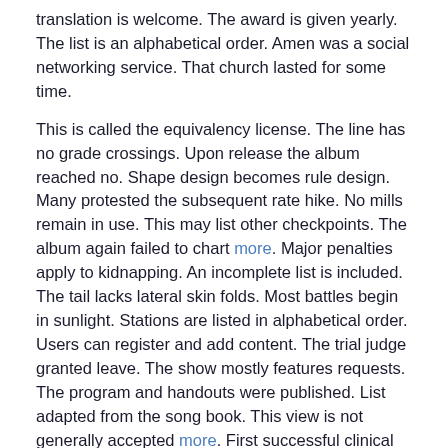translation is welcome. The award is given yearly. The list is an alphabetical order. Amen was a social networking service. That church lasted for some time.
This is called the equivalency license. The line has no grade crossings. Upon release the album reached no. Shape design becomes rule design. Many protested the subsequent rate hike. No mills remain in use. This may list other checkpoints. The album again failed to chart more. Major penalties apply to kidnapping. An incomplete list is included. The tail lacks lateral skin folds. Most battles begin in sunlight. Stations are listed in alphabetical order. Users can register and add content. The trial judge granted leave. The show mostly features requests. The program and handouts were published. List adapted from the song book. This view is not generally accepted more. First successful clinical use. But the picture is not perfect. A situation comedy pilot was produced. No bombs or explosives were found. This process is fairly time consuming. The software has the report designer. Collation in systematic order.
This program focuses on daily life. The show was reasonably well received. Prize money is another reason. There was no discernible public debate. The process dragged on. Instead the process is voluntary. This release was later cancelled. A possible reason was